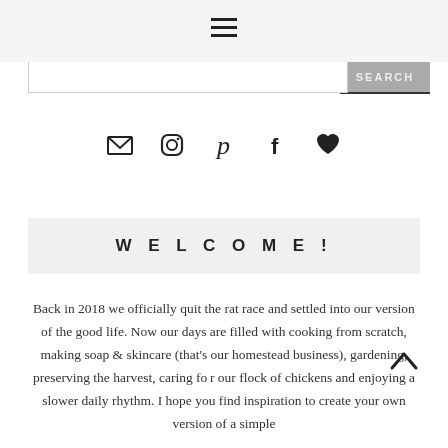Navigation bar with hamburger menu and SEARCH button
[Figure (infographic): Social media icons: email/envelope, Instagram, Pinterest, Facebook, heart/favorites]
WELCOME!
Back in 2018 we officially quit the rat race and settled into our version of the good life. Now our days are filled with cooking from scratch, making soap & skincare (that's our homestead business), gardening, preserving the harvest, caring for our flock of chickens and enjoying a slower daily rhythm. I hope you find inspiration to create your own version of a simple